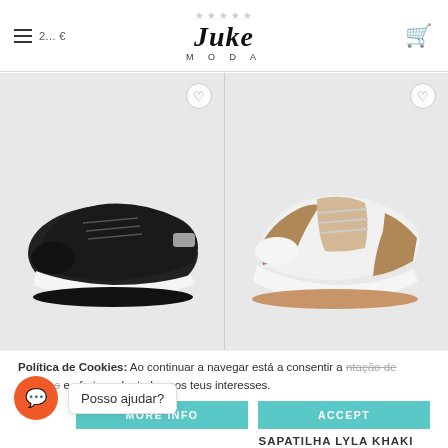Juke Moda — navigation header with hamburger menu, logo, stars, and cart icon
[Figure (photo): Black knit sneaker with white sole on light grey background]
[Figure (photo): White and tan/khaki chunky sneaker with white sole on light grey background]
Política de Cookies: Ao continuar a navegar está a consentir a ntação de serviços e ofertas adaptadas aos teus interesses.
MORE INFO
ACCEPT
Posso ajudar?
SAPATILHA LYLA KHAKI